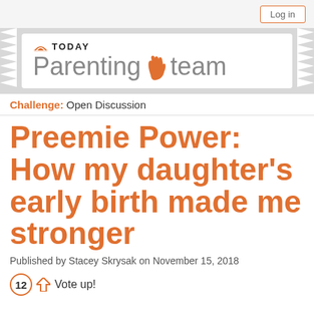Log in
[Figure (logo): TODAY Parenting Team logo with orange rainbow icon and orange hand icon]
Challenge: Open Discussion
Preemie Power: How my daughter's early birth made me stronger
Published by Stacey Skrysak on November 15, 2018
12  Vote up!